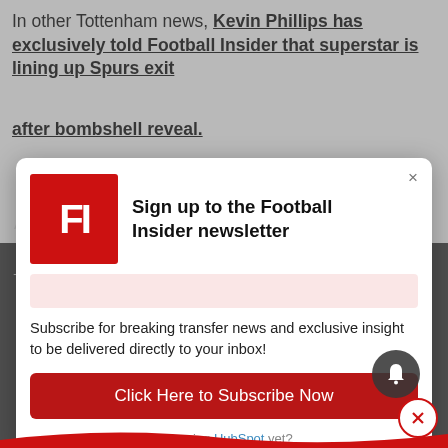In other Tottenham news, Kevin Phillips has exclusively told Football Insider that superstar is lining up Spurs exit after bombshell reveal.
[Figure (screenshot): Football Insider newsletter signup modal popup with red FI logo, title 'Sign up to the Football Insider newsletter', subscribe text, and red 'Click Here to Subscribe Now' button. Background shows blurred article page with photo of person holding a mug.]
Sign up to the Football Insider newsletter
Subscribe for breaking transfer news and exclusive insight to be delivered directly to your inbox!
Click Here to Subscribe Now
Not using HubSpot yet?